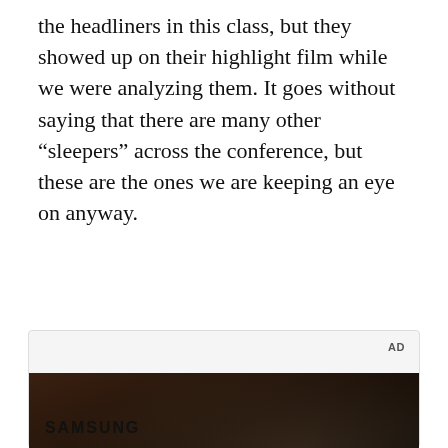the headliners in this class, but they showed up on their highlight film while we were analyzing them. It goes without saying that there are many other “sleepers” across the conference, but these are the ones we are keeping an eye on anyway.
[Figure (other): Advertisement box containing a Samsung video ad with label 'AD', a video thumbnail showing a woman in a car holding a Samsung foldable phone with text 'Unfold your world' and a play button overlay, and the Samsung logo at the bottom.]